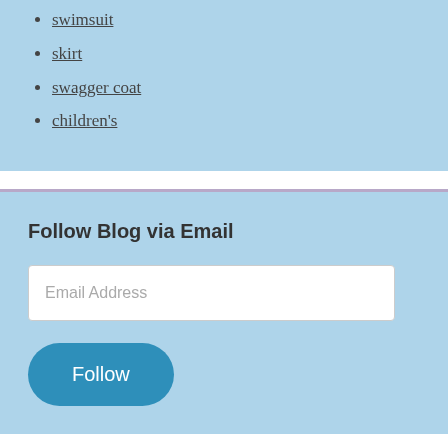swimsuit
skirt
swagger coat
children's
Follow Blog via Email
Email Address
Follow